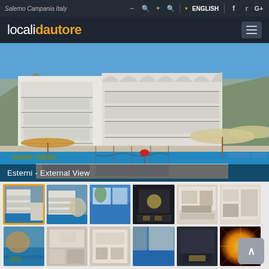Salerno Campania Italy
[Figure (screenshot): Website header/navigation bar for localidautore with zoom icons, language selector (ENGLISH), and social media icons (Facebook, Twitter, Google+)]
[Figure (photo): Main large photo of a hotel exterior view showing a white multi-story building with balconies next to a pool area with beach umbrellas and lounge chairs - Esterni - External View]
Esterni - External View
[Figure (photo): Thumbnail gallery row 1: 6 hotel photos including exterior, pool area, restaurant/dining area, lobby/interior, bedroom, and room interior]
[Figure (photo): Thumbnail gallery row 2 (partial): 6 hotel photos including pool/outdoor, restaurant interior, dining room, sea view terrace, lobby, and decorative ceiling/wall]